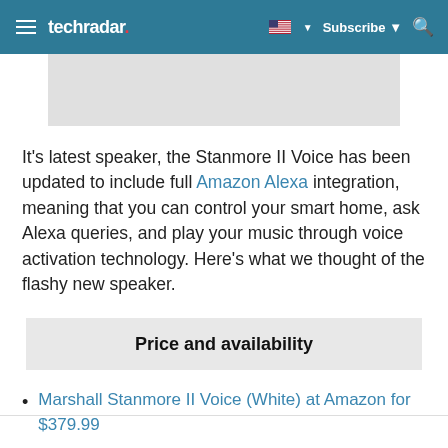techradar
[Figure (photo): Gray placeholder image area for product photo]
It’s latest speaker, the Stanmore II Voice has been updated to include full Amazon Alexa integration, meaning that you can control your smart home, ask Alexa queries, and play your music through voice activation technology. Here’s what we thought of the flashy new speaker.
Price and availability
Marshall Stanmore II Voice (White) at Amazon for $379.99